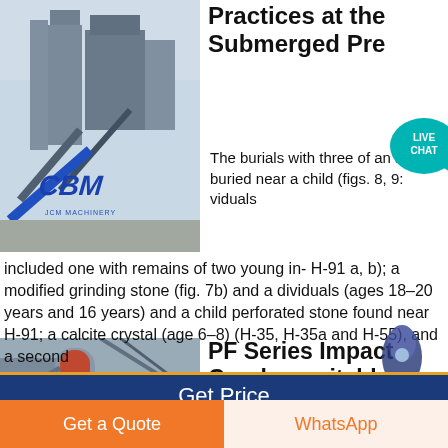[Figure (photo): Industrial machinery / CBM plant equipment photo with blue CBM logo visible]
Practices at the Submerged Pre
The burials with three of an adult buried near a child (figs. 8, 9: viduals included one with remains of two young in- H-91 a, b); a modified grinding stone (fig. 7b) and a dividuals (ages 18–20 years and 16 years) and a child perforated stone found near H-91; a calcite crystal (age 6–8) (H-35, H-35a and H-55), and a second
Get Price
[Figure (photo): Industrial crusher / PF Series Impact Crusher machinery photo]
PF Series Impact Crusher suitable
Get a Quote
WhatsApp